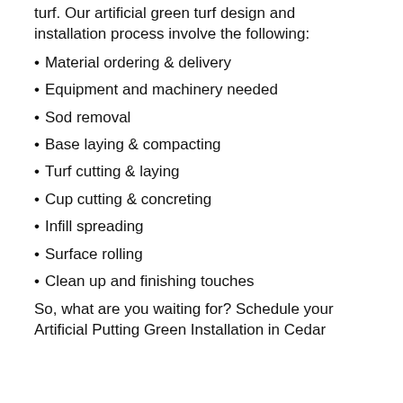turf. Our artificial green turf design and installation process involve the following:
Material ordering & delivery
Equipment and machinery needed
Sod removal
Base laying & compacting
Turf cutting & laying
Cup cutting & concreting
Infill spreading
Surface rolling
Clean up and finishing touches
So, what are you waiting for? Schedule your Artificial Putting Green Installation in Cedar